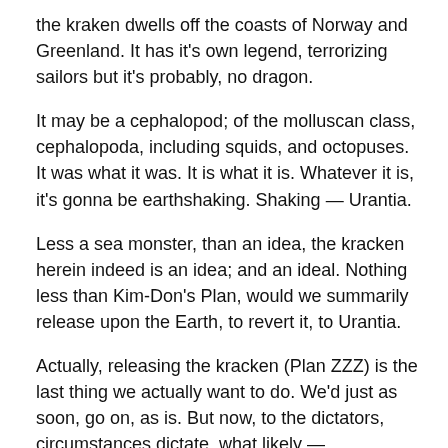the kraken dwells off the coasts of Norway and Greenland. It has it's own legend, terrorizing sailors but it's probably, no dragon.
It may be a cephalopod; of the molluscan class, cephalopoda, including squids, and octopuses. It was what it was. It is what it is. Whatever it is, it's gonna be earthshaking. Shaking — Urantia.
Less a sea monster, than an idea, the kracken herein indeed is an idea; and an ideal. Nothing less than Kim-Don's Plan, would we summarily release upon the Earth, to revert it, to Urantia.
Actually, releasing the kracken (Plan ZZZ) is the last thing we actually want to do. We'd just as soon, go on, as is. But now, to the dictators, circumstances dictate, what likely —